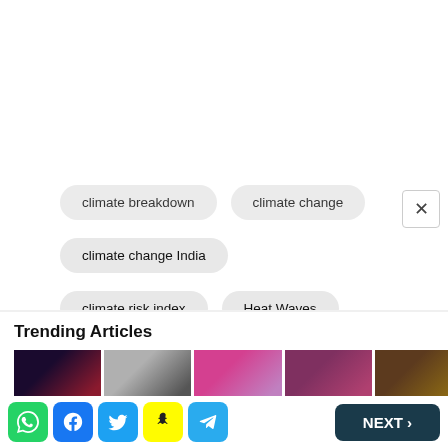climate breakdown
climate change
climate change India
climate risk index
Heat Waves
uttarakhand
Uttarakhand glacier
Trending Articles
[Figure (photo): Trending article thumbnail images — person with red headband, man in grey outfit with buildings background, woman in pink outfit, woman with purple tones, brown/tan partial image]
Social share icons: WhatsApp, Facebook, Twitter, Snapchat, Telegram | NEXT >